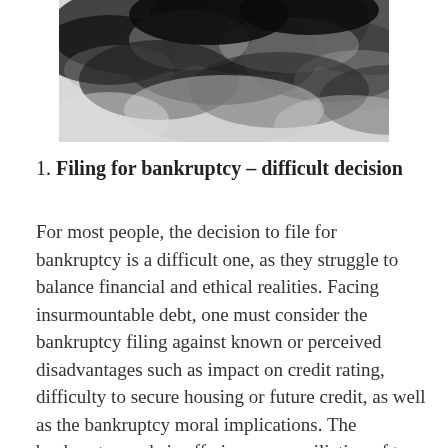[Figure (photo): Black and white photograph of dark storm clouds against a light sky]
1. Filing for bankruptcy – difficult decision
For most people, the decision to file for bankruptcy is a difficult one, as they struggle to balance financial and ethical realities. Facing insurmountable debt, one must consider the bankruptcy filing against known or perceived disadvantages such as impact on credit rating, difficulty to secure housing or future credit, as well as the bankruptcy moral implications. The bankruptcy code is offering a reconciliation of two opposing goals: offering the chance of a new start to the honest debtor while equitably distributing insufficient assets among the creditors. The Coronavirus pandemic triggered